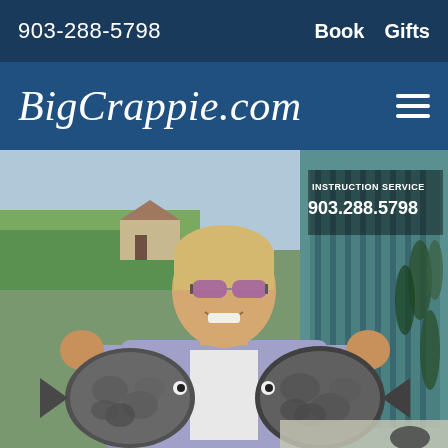903-288-5798   Book   Gifts
BigCrappie.com
[Figure (photo): A smiling young woman with sunglasses holding two large crappie fish, standing in front of a sign reading 'INSTRUCTION SERVICE 903.288.5798' with a teal/green building in background]